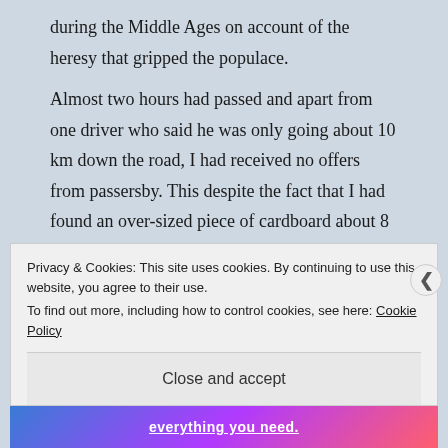during the Middle Ages on account of the heresy that gripped the populace.
Almost two hours had passed and apart from one driver who said he was only going about 10 km down the road, I had received no offers from passersby. This despite the fact that I had found an over-sized piece of cardboard about 8 feet square and had dedicated one entire side of it to a comically huge question mark. While it was reassuring to see people laugh at the ambiguous question
Privacy & Cookies: This site uses cookies. By continuing to use this website, you agree to their use.
To find out more, including how to control cookies, see here: Cookie Policy
Close and accept
everything you need.